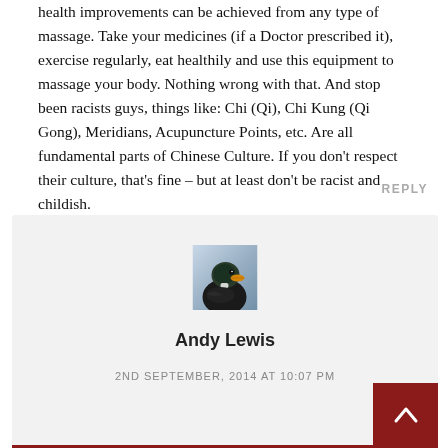health improvements can be achieved from any type of massage. Take your medicines (if a Doctor prescribed it), exercise regularly, eat healthily and use this equipment to massage your body. Nothing wrong with that. And stop been racists guys, things like: Chi (Qi), Chi Kung (Qi Gong), Meridians, Acupuncture Points, etc. Are all fundamental parts of Chinese Culture. If you don't respect their culture, that's fine – but at least don't be racist and childish.
REPLY
[Figure (photo): Avatar photo of a duck (mallard), close-up portrait against a gradient background]
Andy Lewis
2ND SEPTEMBER, 2014 AT 10:07 PM